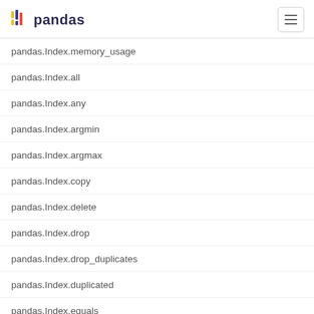pandas
pandas.Index.memory_usage
pandas.Index.all
pandas.Index.any
pandas.Index.argmin
pandas.Index.argmax
pandas.Index.copy
pandas.Index.delete
pandas.Index.drop
pandas.Index.drop_duplicates
pandas.Index.duplicated
pandas.Index.equals
pandas.Index.factorize
pandas.Index.identical